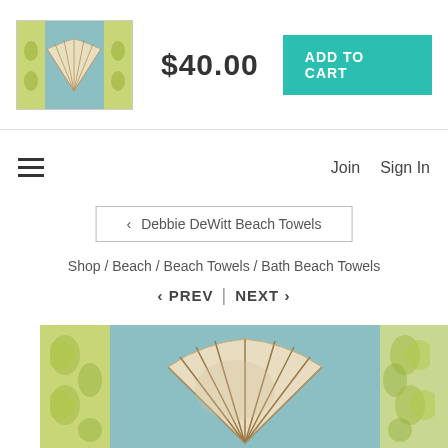[Figure (photo): Thumbnail image of a beach towel with scallop shell design on teal and green damask background]
$40.00
ADD TO CART
≡
Join   Sign In
‹ Debbie DeWitt Beach Towels
Shop / Beach / Beach Towels / Bath Beach Towels
‹ PREV  |  NEXT ›
[Figure (photo): Large beach towel product image featuring a detailed scallop shell painted in cream and brown on a teal blue background with green damask side panels]